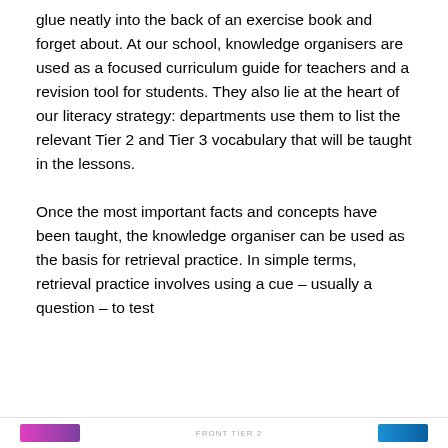glue neatly into the back of an exercise book and forget about. At our school, knowledge organisers are used as a focused curriculum guide for teachers and a revision tool for students. They also lie at the heart of our literacy strategy: departments use them to list the relevant Tier 2 and Tier 3 vocabulary that will be taught in the lessons.

Once the most important facts and concepts have been taught, the knowledge organiser can be used as the basis for retrieval practice. In simple terms, retrieval practice involves using a cue – usually a question – to test
[Figure (screenshot): Cookie consent banner overlay with text: 'Privacy & Cookies: This site uses cookies. By continuing to use this website, you agree to their use. To find out more, including how to control cookies, see here: Cookie Policy'. A close button (X in circle) appears on the right, and a 'Close and accept' button appears at bottom right.]